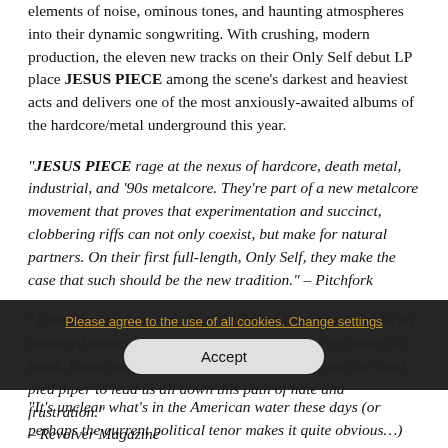elements of noise, ominous tones, and haunting atmospheres into their dynamic songwriting. With crushing, modern production, the eleven new tracks on their Only Self debut LP place JESUS PIECE among the scene's darkest and heaviest acts and delivers one of the most anxiously-awaited albums of the hardcore/metal underground this year.
“JESUS PIECE rage at the nexus of hardcore, death metal, industrial, and ’90s metalcore. They’re part of a new metalcore movement that proves that experimentation and succinct, clobbering riffs can not only coexist, but make for natural partners. On their first full-length, Only Self, they make the case that such should be the new tradition.” – Pitchfork
“Through clenched teeth, vocalist Aaron Heard sounds like an unhinged animal, ferociously tearing through drop tuning, d-beats, blasts and exaggerated breakdowns to create the ideal pied piper to lead us all down this path of hate and frustration.” – Revolver Magazine
“It’s unclear what’s in the American water these days (or perhaps the current political tenor makes it quite obvious…)